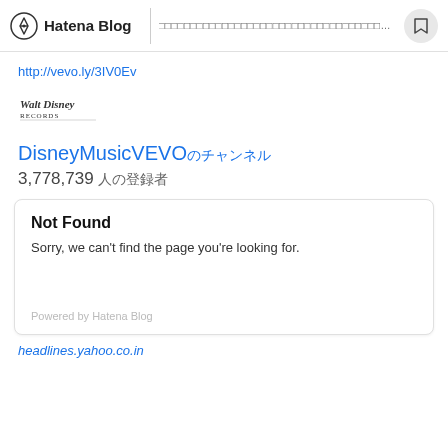Hatena Blog | [url bar content]
http://vevo.ly/3IV0Ev
[Figure (logo): Walt Disney Records logo in cursive script]
DisneyMusicVEVOのチャンネル
3,778,739 人の登録者
Not Found
Sorry, we can't find the page you're looking for.
Powered by Hatena Blog
headlines.yahoo.co.in